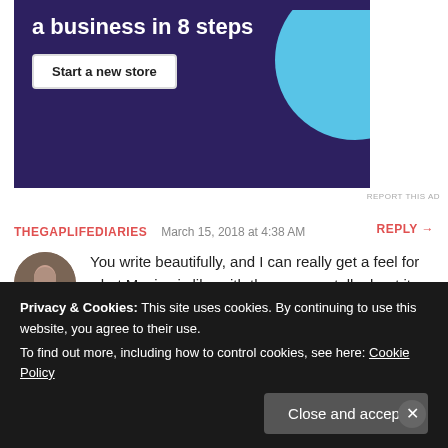[Figure (screenshot): Advertisement banner with dark purple background showing 'a business in 8 steps' text, a 'Start a new store' button, and a light blue circle graphic on the right]
REPORT THIS AD
THEGAPLIFEDIARIES   March 15, 2018 at 4:38 AM   REPLY →
[Figure (photo): Round avatar photo of a woman]
You write beautifully, and I can really get a feel for what Mexico is like with the way you talk about it. It's so wonderful when you feel like this about a place – like the attraction will never wear off – I feel the same about some places,
Privacy & Cookies: This site uses cookies. By continuing to use this website, you agree to their use. To find out more, including how to control cookies, see here: Cookie Policy  Close and accept